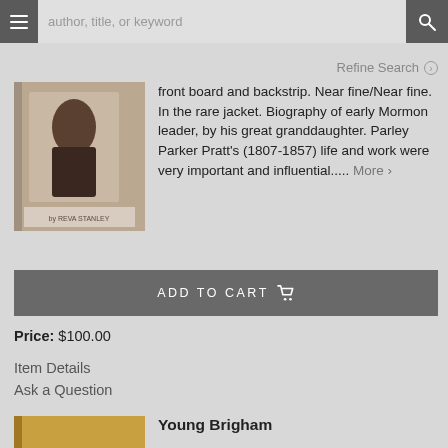author, title, or keyword
Refine Search
[Figure (photo): Book cover showing a person, with text 'by Reva Stanley']
front board and backstrip. Near fine/Near fine. In the rare jacket. Biography of early Mormon leader, by his great granddaughter. Parley Parker Pratt's (1807-1857) life and work were very important and influential..... More >
ADD TO CART
Price: $100.00
Item Details
Ask a Question
[Figure (photo): Partial view of a book cover with yellow/gold color]
Young Brigham